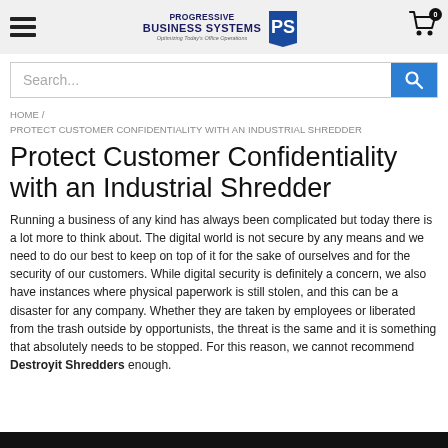Progressive Business Systems — Optimizing Today's Office Operations
Search...
HOME / PROTECT CUSTOMER CONFIDENTIALITY WITH AN INDUSTRIAL SHREDDER
Protect Customer Confidentiality with an Industrial Shredder
Running a business of any kind has always been complicated but today there is a lot more to think about. The digital world is not secure by any means and we need to do our best to keep on top of it for the sake of ourselves and for the security of our customers. While digital security is definitely a concern, we also have instances where physical paperwork is still stolen, and this can be a disaster for any company. Whether they are taken by employees or liberated from the trash outside by opportunists, the threat is the same and it is something that absolutely needs to be stopped. For this reason, we cannot recommend Destroyit Shredders enough.